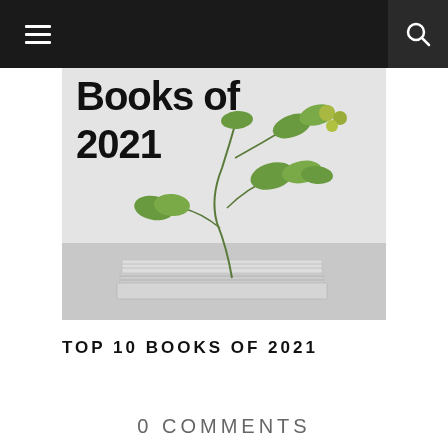Navigation bar with hamburger menu and search icon
[Figure (photo): Blog post thumbnail image showing a stack of books with green plant branches on top, with text overlay reading 'Books of 2021' in bold black font on a light grey/white background]
TOP 10 BOOKS OF 2021
0 COMMENTS